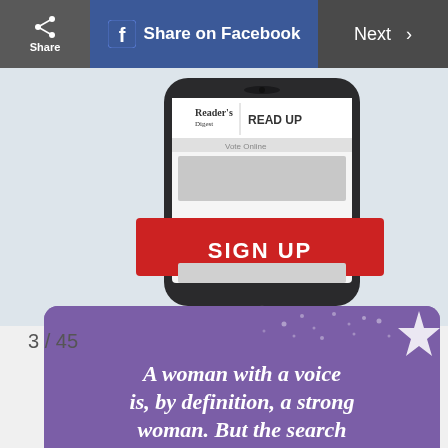Share | Share on Facebook | Next
[Figure (screenshot): Reader's Digest READ UP app shown on a smartphone with a SIGN UP red button overlay]
3 / 45
[Figure (infographic): Purple quote card with stars decoration reading: A woman with a voice is, by definition, a strong woman. But the search]